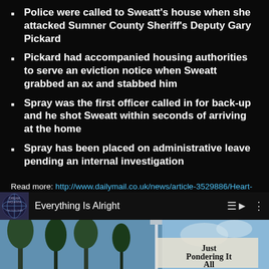Police were called to Sweatt's house when she attacked Sumner County Sheriff's Deputy Gary Pickard
Pickard had accompanied housing authorities to serve an eviction notice when Sweatt grabbed an ax and stabbed him
Spray was the first officer called in for back-up and he shot Sweatt within seconds of arriving at the home
Spray has been placed on administrative leave pending an internal investigation
Read more: http://www.dailymail.co.uk/news/article-3529886/Heart-stopping-video-shows-moment-police-officer-fatally-shot-ax-wielding-woman.html#ixzz45OKiWx7E
Follow us: @MailOnline on Twitter | DailyMail on Facebook
[Figure (screenshot): Media player thumbnail showing 'Everything Is Alright' with album art globe icon, playlist and options icons, and a video still showing trees and 'Just Pondering It All' text overlay]